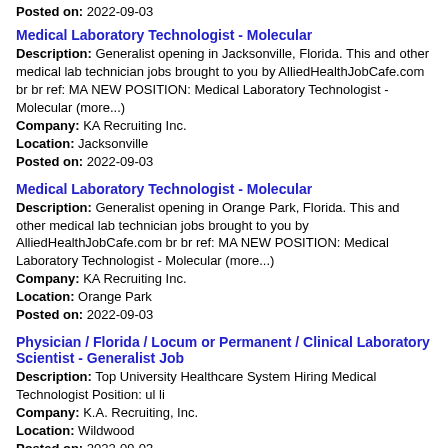Posted on: 2022-09-03
Medical Laboratory Technologist - Molecular
Description: Generalist opening in Jacksonville, Florida. This and other medical lab technician jobs brought to you by AlliedHealthJobCafe.com br br ref: MA NEW POSITION: Medical Laboratory Technologist - Molecular (more...)
Company: KA Recruiting Inc.
Location: Jacksonville
Posted on: 2022-09-03
Medical Laboratory Technologist - Molecular
Description: Generalist opening in Orange Park, Florida. This and other medical lab technician jobs brought to you by AlliedHealthJobCafe.com br br ref: MA NEW POSITION: Medical Laboratory Technologist - Molecular (more...)
Company: KA Recruiting Inc.
Location: Orange Park
Posted on: 2022-09-03
Physician / Florida / Locum or Permanent / Clinical Laboratory Scientist - Generalist Job
Description: Top University Healthcare System Hiring Medical Technologist Position: ul li
Company: K.A. Recruiting, Inc.
Location: Wildwood
Posted on: 2022-09-03